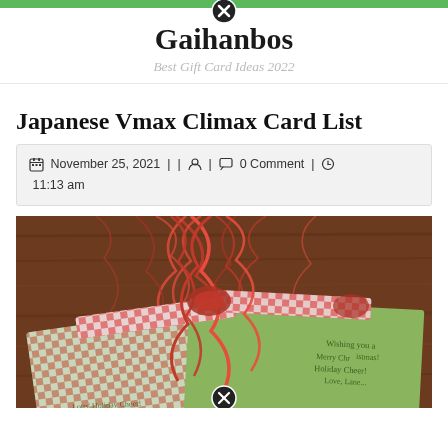Gaihanbos — Best Gift Card Ideas 2022
Japanese Vmax Climax Card List
November 25, 2021 | | [user icon] | [comment icon] 0 Comment | [clock icon] 11:13 am
[Figure (photo): Photo of gift cards wrapped with red raffia ribbon and red-and-white gingham paper, with handwritten holiday messages visible including 'Wishing you a Merry Christmas Holiday Cheer! Love, Lane...'.]